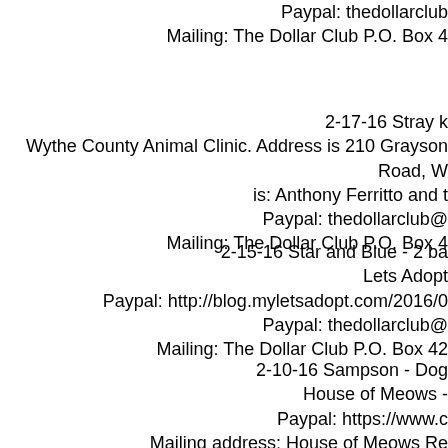Paypal: thedollarclub
Mailing: The Dollar Club P.O. Box 4
2-17-16 Stray k
Wythe County Animal Clinic. Address is 210 Grayson Road, W
is: Anthony Ferritto and t
Paypal: thedollarclub@
Mailing: The Dollar Club P.O. Box 4
2-15-16 Star and Blue - 2 ba
Lets Adopt
Paypal: http://blog.myletsadopt.com/2016/0
Paypal: thedollarclub@
Mailing: The Dollar Club P.O. Box 42
2-10-16 Sampson - Dog
House of Meows -
Paypal: https://www.c
Mailing address: House of Meows Re
Paypal: thedollarclub@
Mailing: The Dollar Club P.O. Box